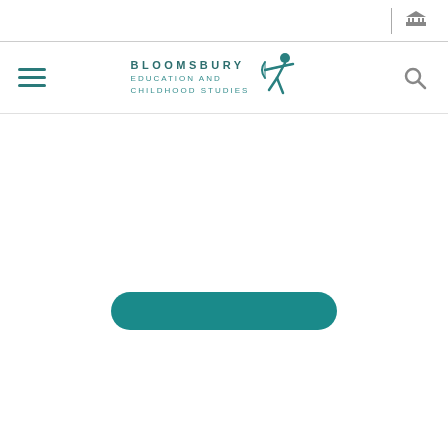[Figure (logo): Bloomsbury Education and Childhood Studies logo with archer figure]
[Figure (other): Teal rounded rectangle button element]